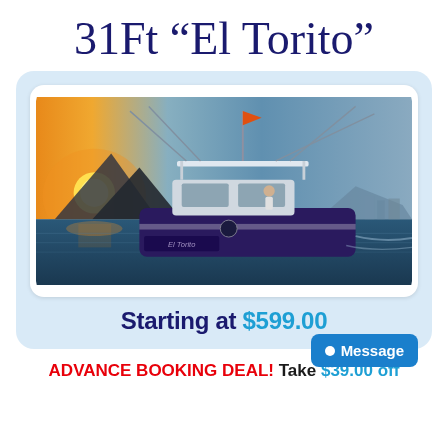31Ft "El Torito"
[Figure (photo): A 31-foot sport fishing boat named El Torito cruising on the water at sunset, with fishing rods extended, a person standing on deck, and a coastal town visible in the background]
Starting at $599.00
ADVANCE BOOKING DEAL! Take $39.00 off